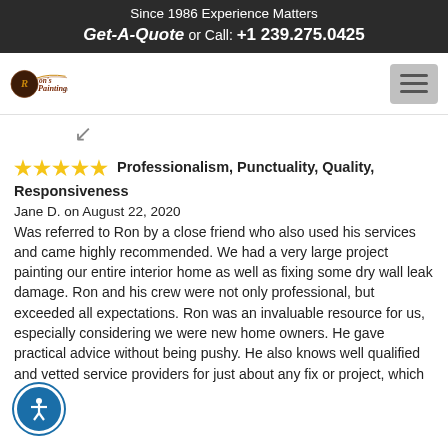Since 1986 Experience Matters
Get-A-Quote or Call: +1 239.275.0425
[Figure (logo): Ron's Painting LLC logo with decorative script text and circular emblem]
★★★★★ Professionalism, Punctuality, Quality, Responsiveness
Jane D. on August 22, 2020
Was referred to Ron by a close friend who also used his services and came highly recommended. We had a very large project painting our entire interior home as well as fixing some dry wall leak damage. Ron and his crew were not only professional, but exceeded all expectations. Ron was an invaluable resource for us, especially considering we were new home owners. He gave practical advice without being pushy. He also knows well qualified and vetted service providers for just about any fix or project, which